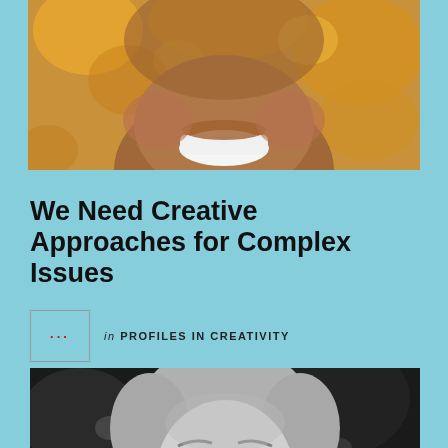[Figure (photo): Close-up photo of a smiling young person with warm autumn bokeh background in orange and yellow tones]
We Need Creative Approaches for Complex Issues
in PROFILES IN CREATIVITY
[Figure (photo): Black and white portrait photograph of an elderly man with a mustache, resting his chin on his hand in a thoughtful pose, wearing a suit and bow tie]